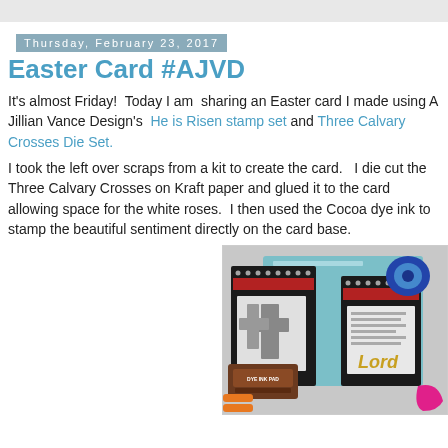Thursday, February 23, 2017
Easter Card #AJVD
It's almost Friday!  Today I am  sharing an Easter card I made using A Jillian Vance Design's  He is Risen stamp set  and  Three Calvary Crosses Die Set.
I took the left over scraps from a kit to create the card.   I die cut the Three Calvary Crosses on Kraft paper and glued it to the card allowing space for the white roses.  I then used the Cocoa dye ink to stamp the beautiful sentiment directly on the card base.
[Figure (photo): Craft supplies photo showing die cut sets with black and white polka dot packaging, a brown dye ink pad labeled DYE INK PAD, scissors, and various paper crafting materials on a teal background]